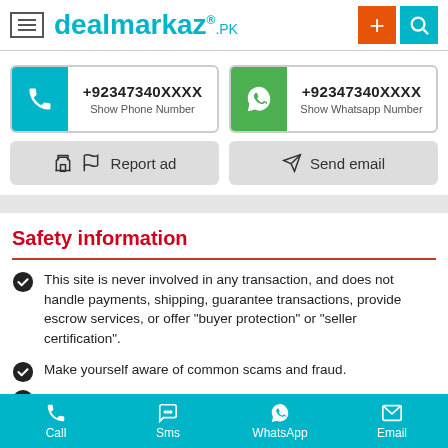dealmarkaz.pk
+92347340XXXX Show Phone Number
+92347340XXXX Show Whatsapp Number
Report ad
Send email
Safety information
This site is never involved in any transaction, and does not handle payments, shipping, guarantee transactions, provide escrow services, or offer "buyer protection" or "seller certification".
Make yourself aware of common scams and fraud.
Call  Sms  WhatsApp  Email